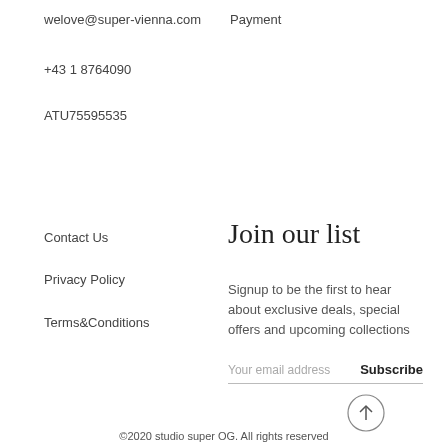welove@super-vienna.com
+43 1 8764090
ATU75595535
Payment
Contact Us
Privacy Policy
Terms&Conditions
Join our list
Signup to be the first to hear about exclusive deals, special offers and upcoming collections
Your email address   Subscribe
©2020 studio super OG. All rights reserved